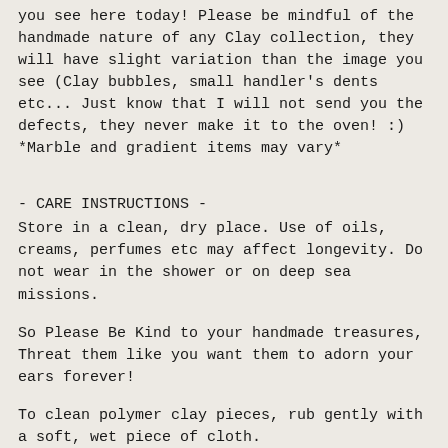you see here today! Please be mindful of the handmade nature of any Clay collection, they will have slight variation than the image you see (Clay bubbles, small handler's dents etc... Just know that I will not send you the defects, they never make it to the oven! :) *Marble and gradient items may vary*
- CARE INSTRUCTIONS -
Store in a clean, dry place. Use of oils, creams, perfumes etc may affect longevity. Do not wear in the shower or on deep sea missions.
So Please Be Kind to your handmade treasures, Threat them like you want them to adorn your ears forever!
To clean polymer clay pieces, rub gently with a soft, wet piece of cloth.
If you own a white or light colored pair of earrings and you get makeup stains on them,